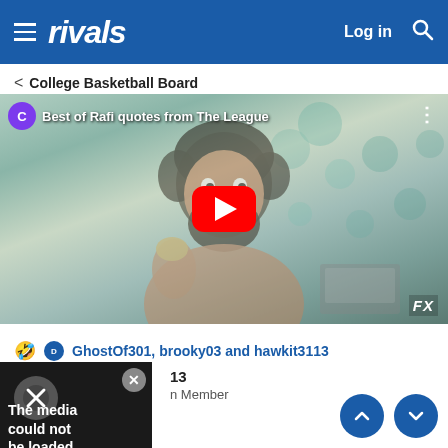rivals — Log in
< College Basketball Board
[Figure (screenshot): YouTube video thumbnail showing a bearded man eating food, with a red YouTube play button overlay and title 'Best of Rafi quotes from The League'. FX logo in bottom right.]
🤣 GhostOf301, brooky03 and hawkit3113
[Figure (screenshot): Embedded media thumbnail showing 'The media could not be loaded' error message on dark background with X close button.]
13
n Member